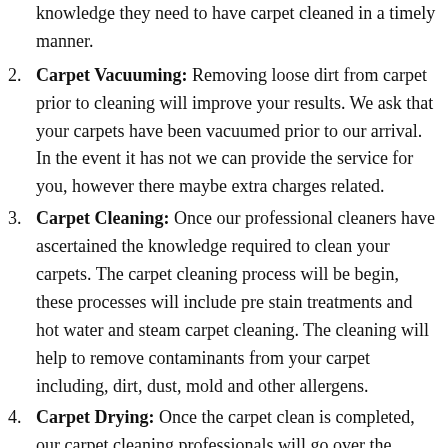knowledge they need to have carpet cleaned in a timely manner.
Carpet Vacuuming: Removing loose dirt from carpet prior to cleaning will improve your results. We ask that your carpets have been vacuumed prior to our arrival. In the event it has not we can provide the service for you, however there maybe extra charges related.
Carpet Cleaning: Once our professional cleaners have ascertained the knowledge required to clean your carpets. The carpet cleaning process will be begin, these processes will include pre stain treatments and hot water and steam carpet cleaning. The cleaning will help to remove contaminants from your carpet including, dirt, dust, mold and other allergens.
Carpet Drying: Once the carpet clean is completed, our carpet cleaning professionals will go over the surface of your carpets to remove excess water and treatment. This will have your carpets predominately dry and have the